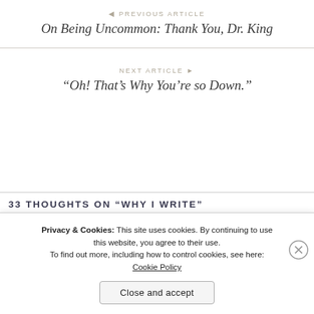◄ PREVIOUS ARTICLE
On Being Uncommon: Thank You, Dr. King
NEXT ARTICLE ▶
“Oh! That’s Why You’re so Down.”
33 THOUGHTS ON “WHY I WRITE”
Privacy & Cookies: This site uses cookies. By continuing to use this website, you agree to their use.
To find out more, including how to control cookies, see here: Cookie Policy
Close and accept